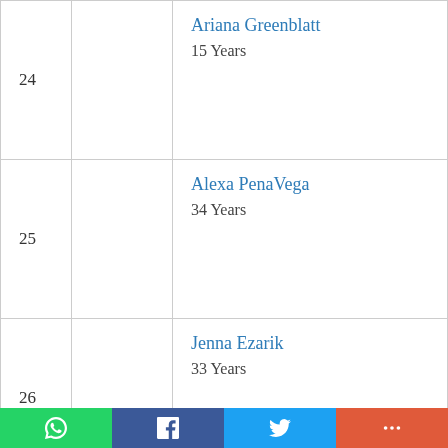| # | Photo | Name / Age |
| --- | --- | --- |
| 24 |  | Ariana Greenblatt
15 Years |
| 25 |  | Alexa PenaVega
34 Years |
| 26 |  | Jenna Ezarik
33 Years |
| 27 |  | The Great Khali
50 Years |
| 28 |  | Sebastian Bails
23 Years |
| 29 |  | Aaron Paul
43 Years |